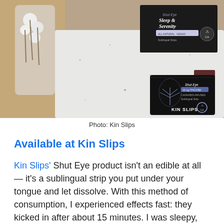[Figure (photo): Overhead photo showing Kin Slips Sleep & Serenity sublingual strip packaging (black box) and a single Kin Slips Shut Eye individual packet on a white terrazzo or marble surface, with a decorative plant in the background.]
Photo: Kin Slips
Available at Kin Slips
Kin Slips' Shut Eye product isn't an edible at all — it's a sublingual strip you put under your tongue and let dissolve. With this method of consumption, I experienced effects fast: they kicked in after about 15 minutes. I was sleepy, relaxed, and comfortable. And, the next day, I didn't